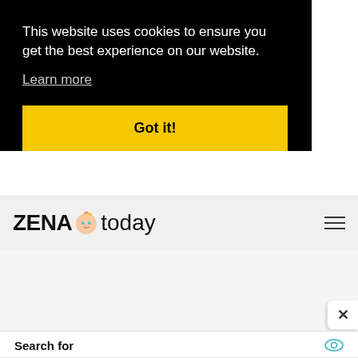This website uses cookies to ensure you get the best experience on our website.
Learn more
Got it!
[Figure (logo): ZENA today logo with stylized baby face icon between ZENA and today]
Search for
01. Get The Best Eye Wrinkle Serum
02. Best Nutritious Dog Foods
Yahoo! Search | Sponsored